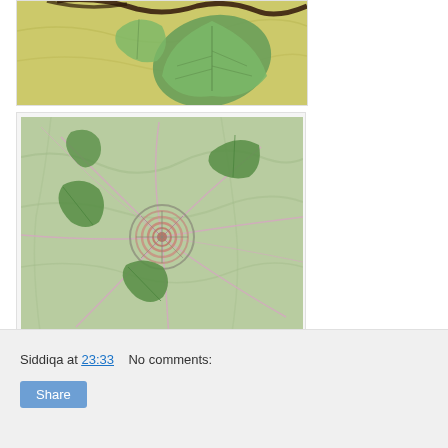[Figure (photo): Close-up photo of fig leaves on a yellow-green cloth background, with part of a dark woven wreath visible at the top]
[Figure (photo): Wire art piece on light green fabric showing pink/copper wire coiled into a spiral in the center with wires radiating outward, surrounded by green ivy/fig leaves]
Siddiqa at 23:33    No comments:
Share